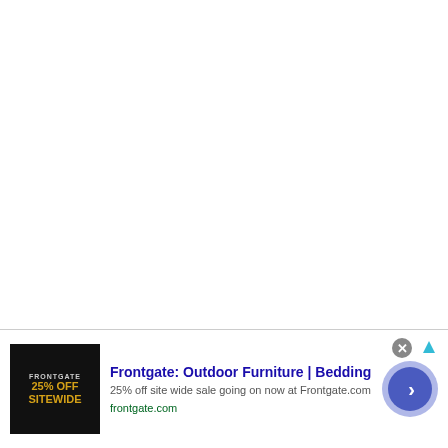1. The vegetables should not be over cooked.
2. As per the original recipe , madras sambar masala is
[Figure (screenshot): Advertisement banner for Frontgate Outdoor Furniture and Bedding. Shows '25% OFF SITEWIDE' promotional image on left, text 'Frontgate: Outdoor Furniture | Bedding' with '25% off site wide sale going on now at Frontgate.com' and 'frontgate.com' URL, and a blue circular arrow button on right. Close button (x) visible top right.]